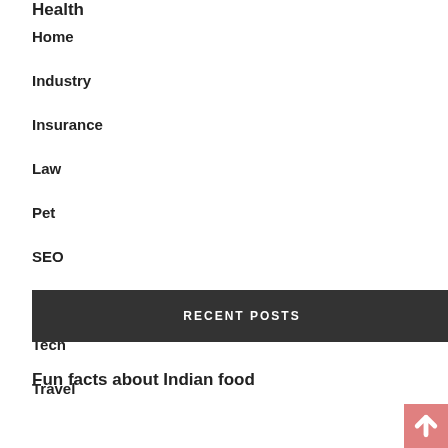Health
Home
Industry
Insurance
Law
Pet
SEO
Sports
Tech
Travel
RECENT POSTS
Fun facts about Indian food